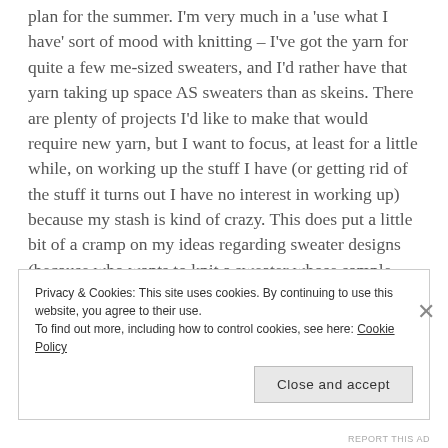plan for the summer. I'm very much in a 'use what I have' sort of mood with knitting – I've got the yarn for quite a few me-sized sweaters, and I'd rather have that yarn taking up space AS sweaters than as skeins. There are plenty of projects I'd like to make that would require new yarn, but I want to focus, at least for a little while, on working up the stuff I have (or getting rid of the stuff it turns out I have no interest in working up) because my stash is kind of crazy. This does put a little bit of a cramp on my ideas regarding sweater designs (because who wants to knit a sweater whose sample was knit up in decades-old stash yarn?), but let's be honest, I'm not really a designer. Though my head is full of plenty of design ideas. I just….don't have the
Privacy & Cookies: This site uses cookies. By continuing to use this website, you agree to their use. To find out more, including how to control cookies, see here: Cookie Policy
Close and accept
REPORT THIS AD